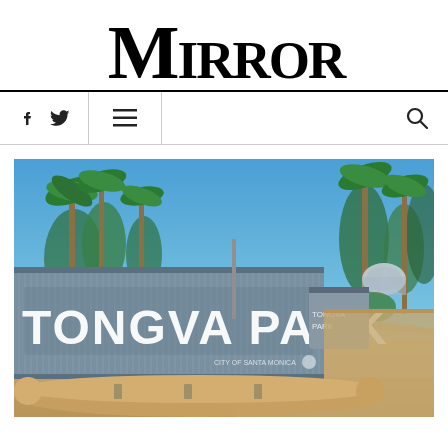Mirror
[Figure (other): Navigation bar with Facebook icon, Twitter icon, hamburger menu icon on left side, and search icon on right side]
[Figure (photo): Photo of Tongva Park sign — a corrugated metal fence with large white letters reading TONGVA PARK, palm trees and blue sky in the background, a sidewalk and curved bench in the foreground]